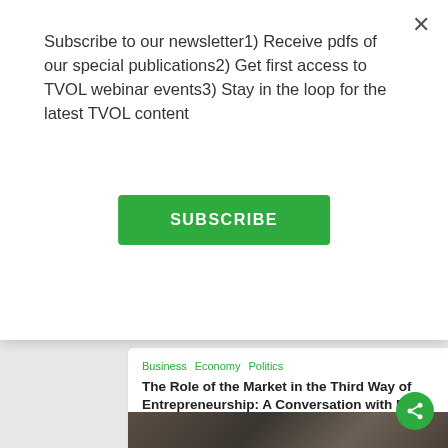Subscribe to our newsletter1) Receive pdfs of our special publications2) Get first access to TVOL webinar events3) Stay in the loop for the latest TVOL content
SUBSCRIBE
Business  Economy  Politics
The Role of the Market in the Third Way of Entrepreneurship: A Conversation with Peter Boettke
Peter Boettke, David Sloan Wilson
August 11, 2022
[Figure (photo): Hands working at a desk with papers and a laptop, business meeting scene]